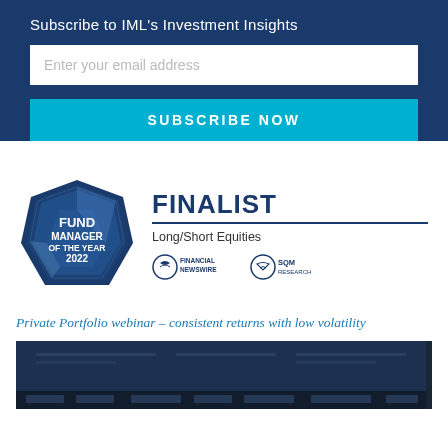Subscribe to IML's Investment Insights
Enter your email address
SUBSCRIBE NOW
[Figure (logo): Fund Manager of the Year 2022 blue geometric badge with FINALIST Long/Short Equities, Financial Newswire and SQM Research logos]
Private Portfolio webinar – consistent returns with low volatility
[Figure (screenshot): Dark blue video thumbnail showing IML webinar branding with multiple IML logos at the bottom]